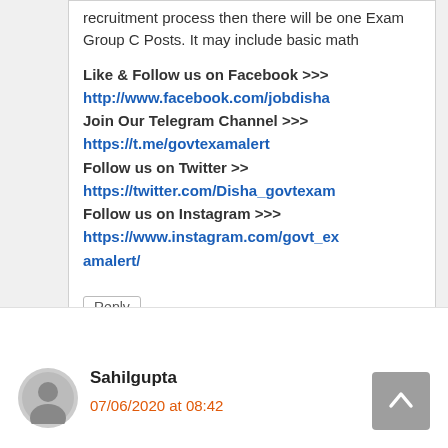recruitment process then there will be one Exam Group C Posts. It may include basic math
Like & Follow us on Facebook >>> http://www.facebook.com/jobdisha Join Our Telegram Channel >>> https://t.me/govtexamalert Follow us on Twitter >> https://twitter.com/Disha_govtexam Follow us on Instagram >>> https://www.instagram.com/govt_examalert/
Reply
Sahilgupta
07/06/2020 at 08:42